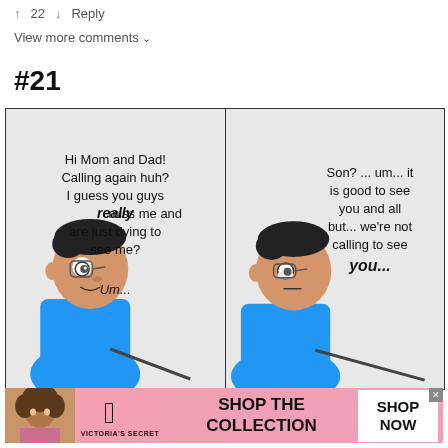↑ 22 ↓   Reply
View more comments ∨
#21
[Figure (illustration): Two-panel comic strip. Left panel: a young man at a computer says 'Hi Mom and Dad! Calling again huh? I guess you guys really miss me and are just dying to see me? Um...' Right panel: same character looking sideways, with speech text 'Son? ... um... it is good to see you and all but... we're not calling to see you...']
[Figure (infographic): Victoria's Secret advertisement banner: woman photo on left, VS logo with 'VICTORIA'S SECRET' text, 'SHOP THE COLLECTION' in large bold text, and 'SHOP NOW' button on right.]